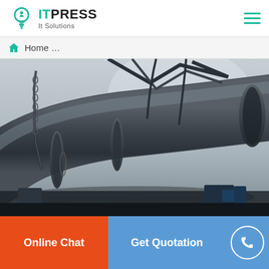ITPRESS It Solutions
Home …
[Figure (photo): Large industrial rotary kiln or pipe being lifted by crane chains, dark metallic cylinder with flanged rings, misty/grey background, industrial construction site]
Online Chat
Get Quotation